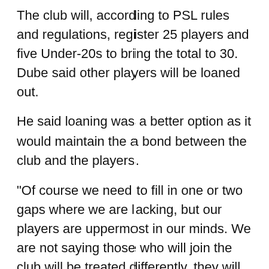The club will, according to PSL rules and regulations, register 25 players and five Under-20s to bring the total to 30. Dube said other players will be loaned out.
He said loaning was a better option as it would maintain the a bond between the club and the players.
“Of course we need to fill in one or two gaps where we are lacking, but our players are uppermost in our minds. We are not saying those who will join the club will be treated differently, they will all get the same treatment. Highlanders is a big family. Just because we cannot go beyond numbers in terms of registering our squad for the PSL, some of our players who will not fit in the squad will be loaned. They are not going to be offloaded,” he said.
Masimba Mambare, Njabulo “Tshiki” Ncube, Peter “Rio” Maya, Milton Ncube, Mthulisi Maphosa, and Erick